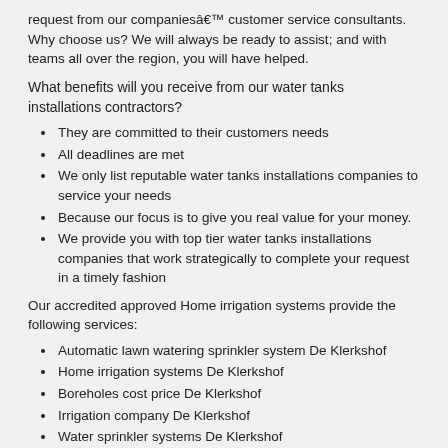request from our companies’ customer service consultants. Why choose us? We will always be ready to assist; and with teams all over the region, you will have helped.
What benefits will you receive from our water tanks installations contractors?
They are committed to their customers needs
All deadlines are met
We only list reputable water tanks installations companies to service your needs
Because our focus is to give you real value for your money.
We provide you with top tier water tanks installations companies that work strategically to complete your request in a timely fashion
Our accredited approved Home irrigation systems provide the following services:
Automatic lawn watering sprinkler system De Klerkshof
Home irrigation systems De Klerkshof
Boreholes cost price De Klerkshof
Irrigation company De Klerkshof
Water sprinkler systems De Klerkshof
Irrigation installations De Klerkshof
Irrigation system repair De Klerkshof
Boreholes De Klerkshof
Home irrigation systems De Klerkshof
Borehole pump repairs De Klerkshof